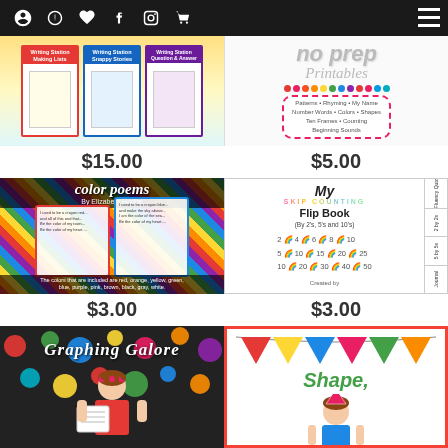Navigation bar with social icons and menu
[Figure (illustration): Writing Station product cards showing colorful worksheets]
$15.00
[Figure (illustration): No Prep Printables cover with dots and subjects listed: Patterns, Rhyming, My Name, Number Words, Colors, Shapes, Ten Frames, Counting, Beginning Sounds]
$5.00
[Figure (illustration): Color Poems by Elizabeth Hodge - colorful diagonal striped background with poem cards]
$3.00
[Figure (illustration): My Skip Counting Flip Book (By 2's, 5's and 10's) showing numbers 2,4,6,8,10 / 5,10,15,20,25 / 10,20,30,40,50]
$3.00
[Figure (illustration): Graphing Galore - colorful polka dot background with girl illustration]
[Figure (illustration): Shape - colorful bunting banner with child illustration]